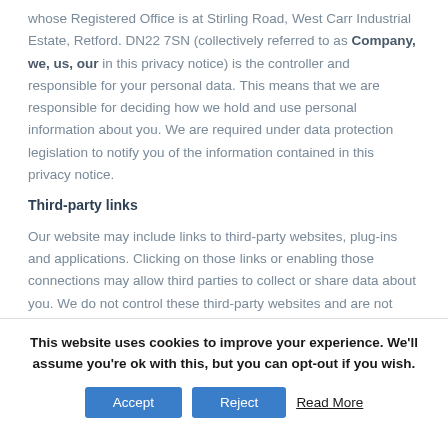whose Registered Office is at Stirling Road, West Carr Industrial Estate, Retford. DN22 7SN (collectively referred to as Company, we, us, our in this privacy notice) is the controller and responsible for your personal data. This means that we are responsible for deciding how we hold and use personal information about you. We are required under data protection legislation to notify you of the information contained in this privacy notice.
Third-party links
Our website may include links to third-party websites, plug-ins and applications. Clicking on those links or enabling those connections may allow third parties to collect or share data about you. We do not control these third-party websites and are not responsible for their privacy statements. When you leave our website, we encourage you to read the privacy notice of every website you visit.
This website uses cookies to improve your experience. We'll assume you're ok with this, but you can opt-out if you wish.